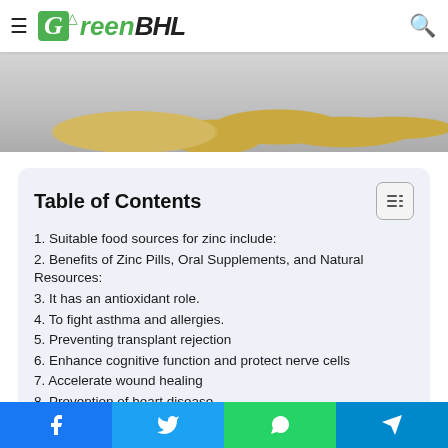GreenBHL
[Figure (photo): Zinc supplement tablets/pills on a light grey surface]
Table of Contents
1. Suitable food sources for zinc include:
2. Benefits of Zinc Pills, Oral Supplements, and Natural Resources:
3. It has an antioxidant role.
4. To fight asthma and allergies.
5. Preventing transplant rejection
6. Enhance cognitive function and protect nerve cells
7. Accelerate wound healing
8. Prevention of heart disease
9. Increased insulin sensitivity